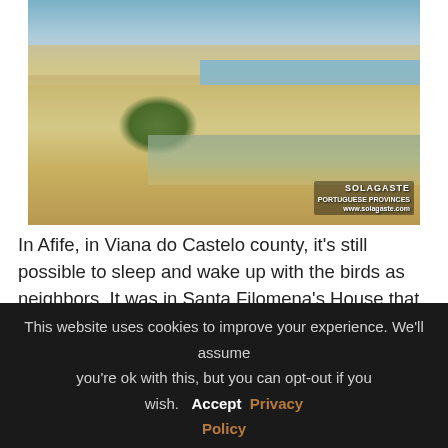[Figure (photo): Beach landscape photo showing sandy beach with grass dunes in foreground, calm water/lagoon in middle ground, and ocean with distant shoreline in background. Blue sky with light clouds. Watermark reading 'SOLAGASTE' and 'PORTUGUESE PROVINCES' with website URL in bottom right corner.]
In Afife, in Viana do Castelo county, it's still possible to sleep and wake up with the birds as neighbors. It was in Santa Filomena's House that his singing received me in the evening and it was with that same sing that after a good night sleep, woke up to discover the village of Afife, best known for its beaches in the hot summer months. But Afife has a lot more to offer.
This website uses cookies to improve your experience. We'll assume you're ok with this, but you can opt-out if you wish. Accept Privacy Policy